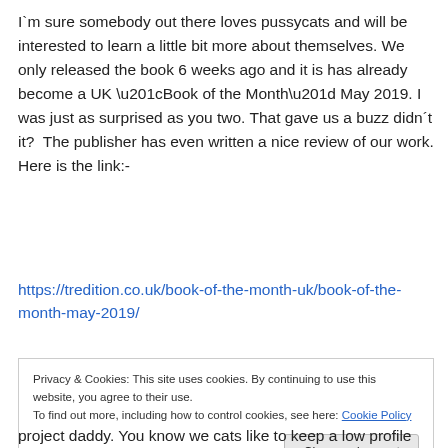I`m sure somebody out there loves pussycats and will be interested to learn a little bit more about themselves. We only released the book 6 weeks ago and it is has already become a UK “Book of the Month” May 2019. I was just as surprised as you two. That gave us a buzz didn´t it?  The publisher has even written a nice review of our work. Here is the link:-
https://tredition.co.uk/book-of-the-month-uk/book-of-the-month-may-2019/
Privacy & Cookies: This site uses cookies. By continuing to use this website, you agree to their use.
To find out more, including how to control cookies, see here: Cookie Policy
Close and accept
project daddy. You know we cats like to keep a low profile